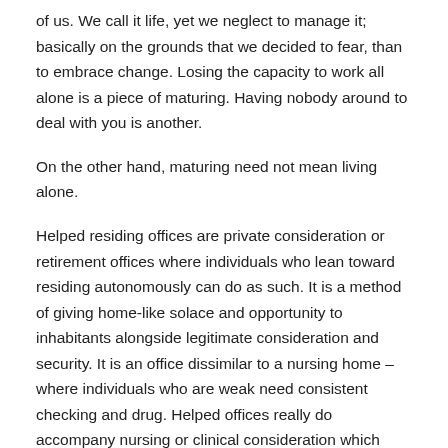of us. We call it life, yet we neglect to manage it; basically on the grounds that we decided to fear, than to embrace change. Losing the capacity to work all alone is a piece of maturing. Having nobody around to deal with you is another.
On the other hand, maturing need not mean living alone.
Helped residing offices are private consideration or retirement offices where individuals who lean toward residing autonomously can do as such. It is a method of giving home-like solace and opportunity to inhabitants alongside legitimate consideration and security. It is an office dissimilar to a nursing home – where individuals who are weak need consistent checking and drug. Helped offices really do accompany nursing or clinical consideration which could be expected by specific occupants if there should be an occurrence of persistent sicknesses.
The offices gather subtleties of people who look for vancouver